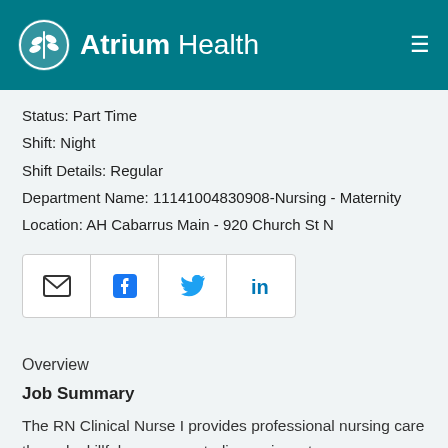[Figure (logo): Atrium Health logo with teal background header bar, white leaf/wheat icon in circle, and hamburger menu icon on right]
Status: Part Time
Shift: Night
Shift Details: Regular
Department Name: 11141004830908-Nursing - Maternity
Location: AH Cabarrus Main - 920 Church St N
[Figure (infographic): Social sharing buttons: email envelope, Facebook, Twitter, LinkedIn]
Overview
Job Summary
The RN Clinical Nurse I provides professional nursing care through skillful assessment, diagnosis, outcomes